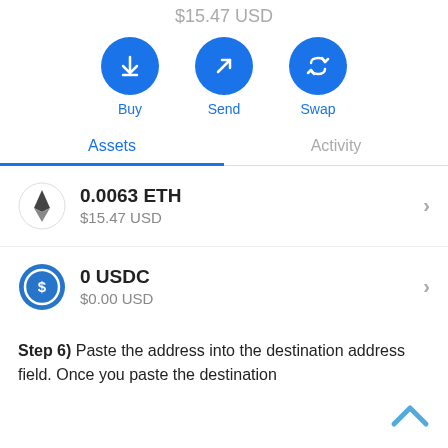$15.47 USD
[Figure (infographic): Three circular blue action buttons: Buy (download arrow icon), Send (arrow pointing up-right), Swap (two horizontal arrows)]
Assets | Activity (tab bar, Assets selected)
[Figure (infographic): Ethereum asset row: ETH icon (diamond shape), 0.0063 ETH, $15.47 USD, right arrow chevron]
[Figure (infographic): USDC asset row: USDC blue circle icon with dollar sign, 0 USDC, $0.00 USD, right arrow chevron]
Step 6) Paste the address into the destination address field. Once you paste the destination